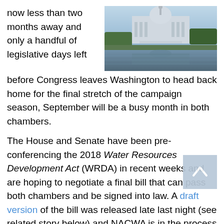now less than two months away and only a handful of legislative days left before Congress leaves Washington to head back home for the final stretch of the campaign season, September will be a busy month in both chambers.
[Figure (photo): Aerial or wide-angle photo of the U.S. Capitol building at dusk/dawn with reflecting pool and trees in foreground]
The House and Senate have been pre-conferencing the 2018 Water Resources Development Act (WRDA) in recent weeks and are hoping to negotiate a final bill that can pass both chambers and be signed into law. A draft version of the bill was released late last night (see related story below) and NACWA is in the process of reviewing the bill.
Also last week, formal conferencing got underway on